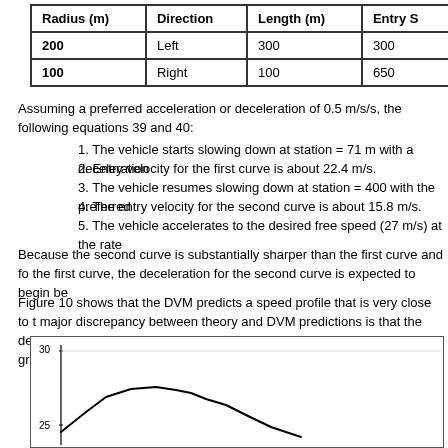| Radius (m) | Direction | Length (m) | Entry S |
| --- | --- | --- | --- |
| 200 | Left | 300 | 300 |
| 100 | Right | 100 | 650 |
Assuming a preferred acceleration or deceleration of 0.5 m/s/s, the following equations 39 and 40:
1. The vehicle starts slowing down at station = 71 m with a deceleration
2. Entry velocity for the first curve is about 22.4 m/s.
3. The vehicle resumes slowing down at station = 400 with the preferred
4. The entry velocity for the second curve is about 15.8 m/s.
5. The vehicle accelerates to the desired free speed (27 m/s) at the rate
Because the second curve is substantially sharper than the first curve and fo the first curve, the deceleration for the second curve is expected to begin be
Figure 10 shows that the DVM predicts a speed profile that is very close to t major discrepancy between theory and DVM predictions is that the decelera expected and the deceleration reaches a magnitude slightly greater than the
[Figure (line-chart): Line chart showing speed (y-axis, up to 30) vs station distance. Shows a curve that rises then descends. Y-axis label visible at 30 and 25.]